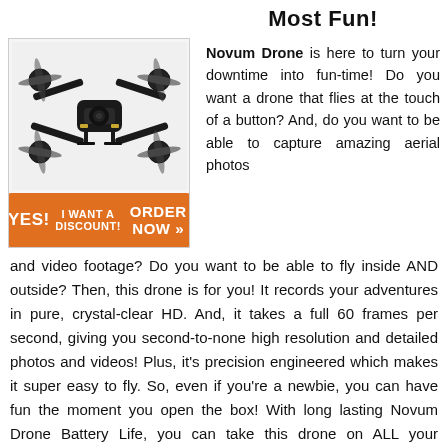Most Fun!
[Figure (photo): A black foldable drone with yellow accents on a light gray background, with an orange 'YES! I WANT A DISCOUNT! ORDER NOW' button below it.]
Novum Drone is here to turn your downtime into fun-time! Do you want a drone that flies at the touch of a button? And, do you want to be able to capture amazing aerial photos and video footage? Do you want to be able to fly inside AND outside? Then, this drone is for you! It records your adventures in pure, crystal-clear HD. And, it takes a full 60 frames per second, giving you second-to-none high resolution and detailed photos and videos! Plus, it's precision engineered which makes it super easy to fly. So, even if you're a newbie, you can have fun the moment you open the box! With long lasting Novum Drone Battery Life, you can take this drone on ALL your adventures!
Some drones are clunky, hard to travel with, and hard to steer. And, that takes all the fun out of flying. Thankfully, that's not